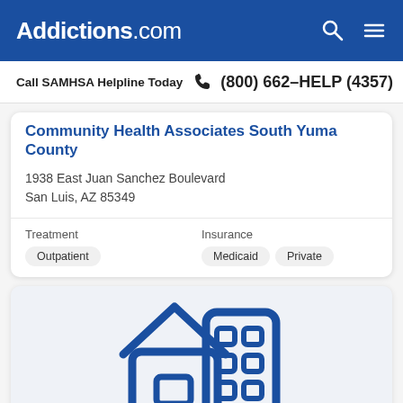Addictions.com
Call SAMHSA Helpline Today  (800) 662-HELP (4357)
Community Health Associates South Yuma County
1938 East Juan Sanchez Boulevard
San Luis, AZ 85349
Treatment: Outpatient | Insurance: Medicaid, Private
[Figure (illustration): Blue icon illustration of a house and building/office complex representing a health facility]